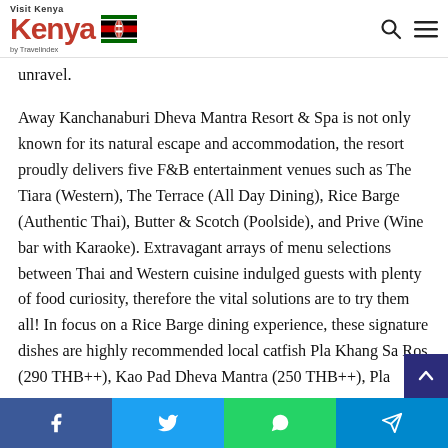Visit Kenya by Travelindex
unravel.
Away Kanchanaburi Dheva Mantra Resort & Spa is not only known for its natural escape and accommodation, the resort proudly delivers five F&B entertainment venues such as The Tiara (Western), The Terrace (All Day Dining), Rice Barge (Authentic Thai), Butter & Scotch (Poolside), and Prive (Wine bar with Karaoke). Extravagant arrays of menu selections between Thai and Western cuisine indulged guests with plenty of food curiosity, therefore the vital solutions are to try them all! In focus on a Rice Barge dining experience, these signature dishes are highly recommended local catfish Pla Khang Sa Ros (290 THB++), Kao Pad Dheva Mantra (250 THB++), Pla...
Facebook Twitter WhatsApp Telegram